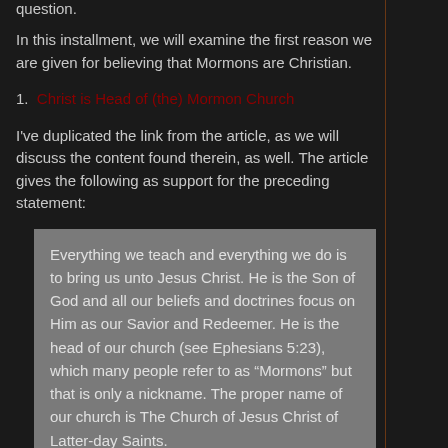question.
In this installment, we will examine the first reason we are given for believing that Mormons are Christian.
1. Christ is Head of (the) Mormon Church
I've duplicated the link from the article, as we will discuss the content found therein, as well. The article gives the following as support for the preceding statement:
Everything we teach and everything we do is to bring us unto Jesus Christ. He is the Son of God and all our beliefs and doctrines focus on Him as our Savior and Redeemer. He is the head of our church (see Ephesians 5:23), which many people refer to as "Mormons" but that is only a nickname. The proper name of our church is The Church of Jesus Christ of Latter-day Saints.
When the Nephites disputed what to call the church, Christ said:
"And how be it my church save it be...